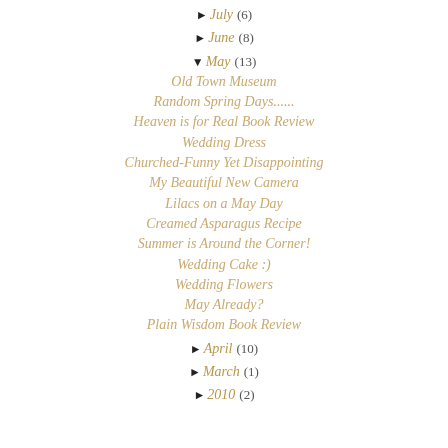► July (6)
► June (8)
▼ May (13)
Old Town Museum
Random Spring Days......
Heaven is for Real Book Review
Wedding Dress
Churched-Funny Yet Disappointing
My Beautiful New Camera
Lilacs on a May Day
Creamed Asparagus Recipe
Summer is Around the Corner!
Wedding Cake :)
Wedding Flowers
May Already?
Plain Wisdom Book Review
► April (10)
► March (1)
► 2010 (2)